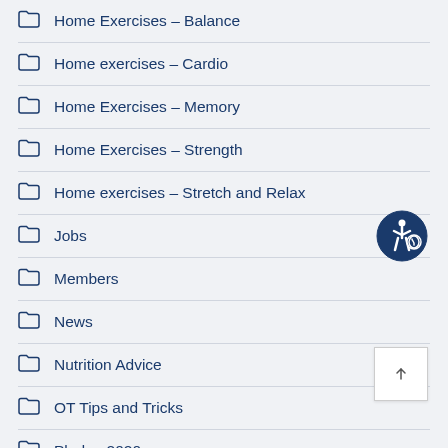Home Exercises – Balance
Home exercises – Cardio
Home Exercises – Memory
Home Exercises – Strength
Home exercises – Stretch and Relax
Jobs
Members
News
Nutrition Advice
OT Tips and Tricks
Pledge 2020
Recipes – Healthy Meals